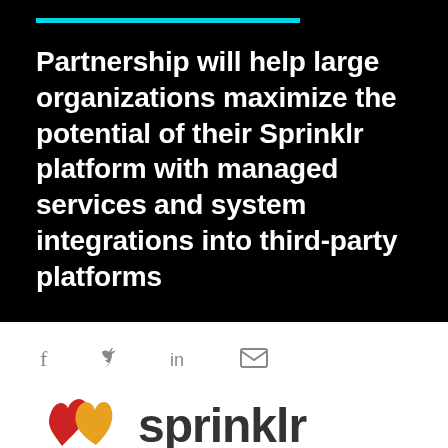Partnership will help large organizations maximize the potential of their Sprinklr platform with managed services and system integrations into third-party platforms
[Figure (infographic): Social media share icons: Facebook (f), Twitter (bird), LinkedIn (in), Email (envelope) displayed in a row on white background]
[Figure (logo): Sprinklr logo - colorful splash mark (red and yellow) beside the word 'sprinklr' in dark gray rounded font, partially visible at bottom of page]